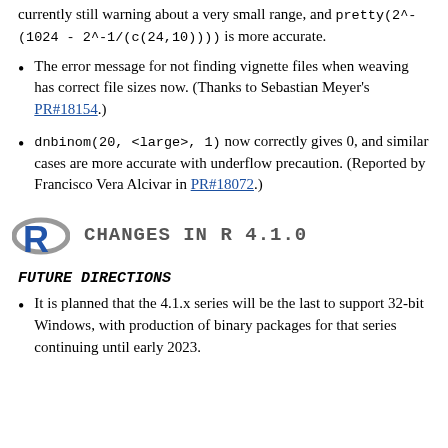currently still warning about a very small range, and pretty(2^-(1024 - 2^-1/(c(24,10)))) is more accurate.
The error message for not finding vignette files when weaving has correct file sizes now. (Thanks to Sebastian Meyer's PR#18154.)
dnbinom(20, <large>, 1) now correctly gives 0, and similar cases are more accurate with underflow precaution. (Reported by Francisco Vera Alcivar in PR#18072.)
CHANGES IN R 4.1.0
FUTURE DIRECTIONS
It is planned that the 4.1.x series will be the last to support 32-bit Windows, with production of binary packages for that series continuing until early 2023.